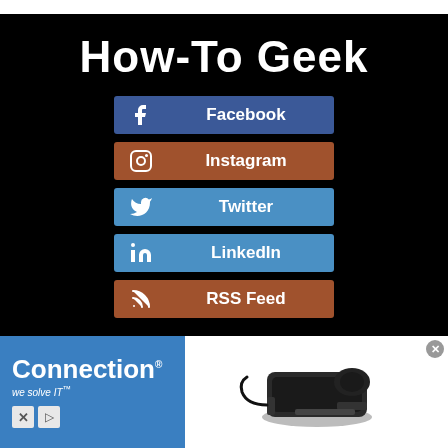How-To Geek
Facebook
Instagram
Twitter
LinkedIn
RSS Feed
[Figure (screenshot): Connection advertisement banner with logo and product image of a docking station]